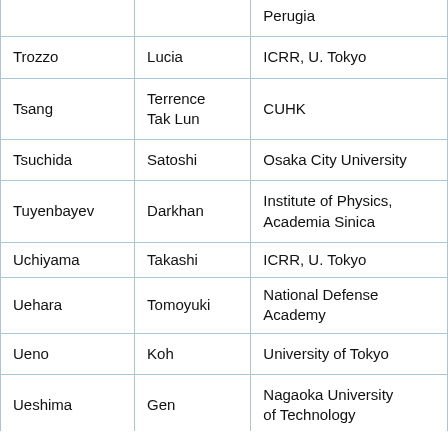| Last Name | First Name | Institution |
| --- | --- | --- |
| [Perugia] |  |  |
| Trozzo | Lucia | ICRR, U. Tokyo |
| Tsang | Terrence Tak Lun | CUHK |
| Tsuchida | Satoshi | Osaka City University |
| Tuyenbayev | Darkhan | Institute of Physics, Academia Sinica |
| Uchiyama | Takashi | ICRR, U. Tokyo |
| Uehara | Tomoyuki | National Defense Academy |
| Ueno | Koh | University of Tokyo |
| Ueshima | Gen | Nagaoka University of Technology |